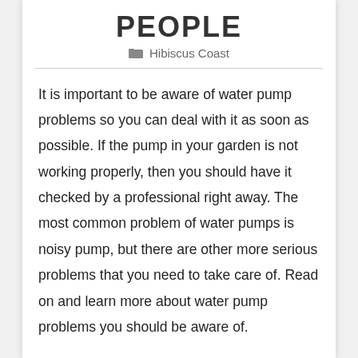PEOPLE
Hibiscus Coast
It is important to be aware of water pump problems so you can deal with it as soon as possible. If the pump in your garden is not working properly, then you should have it checked by a professional right away. The most common problem of water pumps is noisy pump, but there are other more serious problems that you need to take care of. Read on and learn more about water pump problems you should be aware of.
The first thing you should know when it comes to fo...